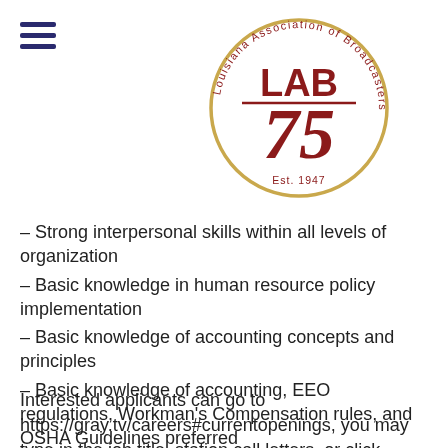[Figure (logo): Louisiana Association of Broadcasters LAB 75 Est. 1947 circular logo with gold ring, red text and red '75' numeral]
– Strong interpersonal skills within all levels of organization
– Basic knowledge in human resource policy implementation
– Basic knowledge of accounting concepts and principles
– Basic knowledge of accounting, EEO regulations, Workman's Compensation rules, and OSHA Guidelines preferred
Interested applicants can go to https://gray.tv/careers#currentopenings, you may type in the job title, station call letters, or click